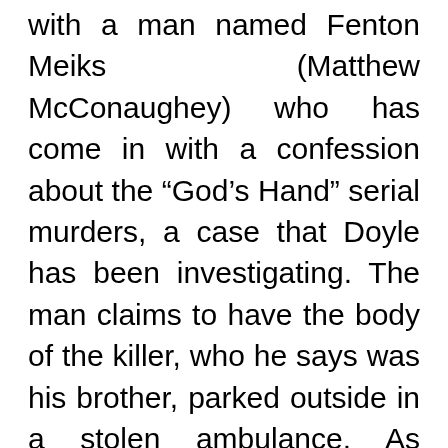with a man named Fenton Meiks (Matthew McConaughey) who has come in with a confession about the “God’s Hand” serial murders, a case that Doyle has been investigating. The man claims to have the body of the killer, who he says was his brother, parked outside in a stolen ambulance. As Meiks begins to tell his story, we are taken back in time to 1979 through a series of flashback that takes us to the Meiks household in the small town of Thurman, Texas. Their house is located